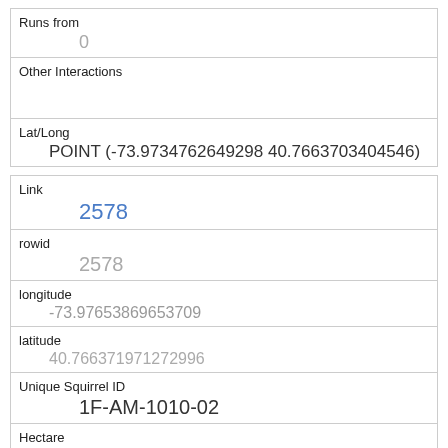| Runs from | 0 |
| Other Interactions |  |
| Lat/Long | POINT (-73.9734762649298 40.7663703404546) |
| Link | 2578 |
| rowid | 2578 |
| longitude | -73.97653869653709 |
| latitude | 40.766371971272996 |
| Unique Squirrel ID | 1F-AM-1010-02 |
| Hectare | 01F |
| Shift |  |